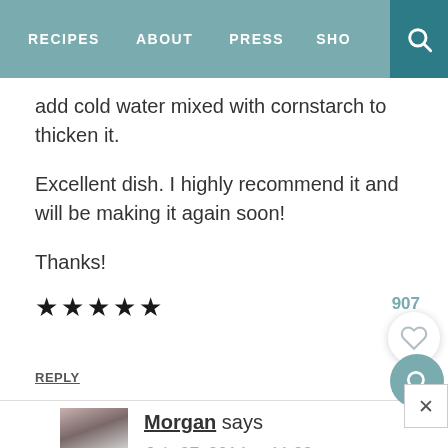RECIPES   ABOUT   PRESS   SHO
add cold water mixed with cornstarch to thicken it.

Excellent dish. I highly recommend it and will be making it again soon!

Thanks!
★★★★★
907
REPLY
Morgan says
July 27, 2014 at 11:23 am